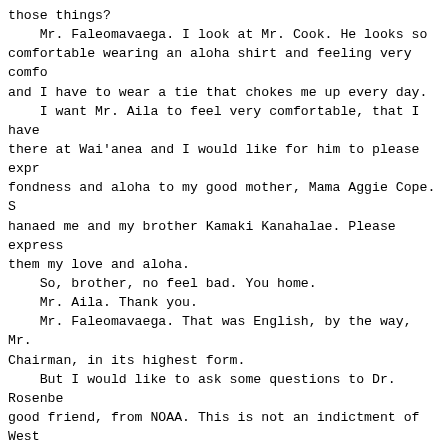those things?
    Mr. Faleomavaega. I look at Mr. Cook. He looks so comfortable wearing an aloha shirt and feeling very comfo and I have to wear a tie that chokes me up every day.
    I want Mr. Aila to feel very comfortable, that I have there at Wai'anea and I would like for him to please expr fondness and aloha to my good mother, Mama Aggie Cope. S hanaed me and my brother Kamaki Kanahalae. Please express them my love and aloha.
    So, brother, no feel bad. You home.
    Mr. Aila. Thank you.
    Mr. Faleomavaega. That was English, by the way, Mr. Chairman, in its highest form.
    But I would like to ask some questions to Dr. Rosenbe good friend, from NOAA. This is not an indictment of West Mr. Cook, I just wanted to get some data and facts unders for the record. The problem, as least as it has been expr by some of the proponents of the bill, to the extent that provisions of the bill do not go far enough in controllin shark finning. If you want to kill a shark, you have to b the whole body to the shore and then it is OK to continue killing, shark finning?
    Is that an acceptable concept with the Administration which the bill provides, or allows?
    Mr. Rosenberg. Yes; it is acceptable. The reason for is because it removes that propensity to overharvest or overexploit that I referred to before as well as reducing waste. But the primary issue here is not to promote a fu overharvest.
    Mr. Faleomavaega. I have also received some reports f